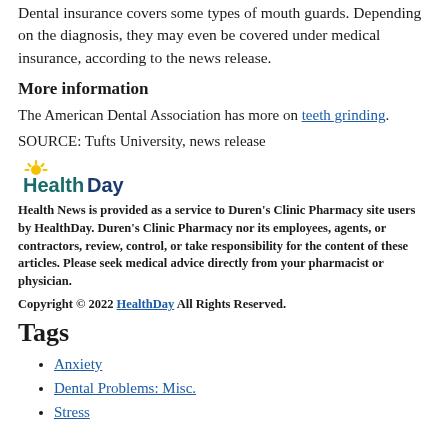Dental insurance covers some types of mouth guards. Depending on the diagnosis, they may even be covered under medical insurance, according to the news release.
More information
The American Dental Association has more on teeth grinding.
SOURCE: Tufts University, news release
[Figure (logo): HealthDay logo with stylized sun rays above the text 'HealthDay']
Health News is provided as a service to Duren's Clinic Pharmacy site users by HealthDay. Duren's Clinic Pharmacy nor its employees, agents, or contractors, review, control, or take responsibility for the content of these articles. Please seek medical advice directly from your pharmacist or physician.
Copyright © 2022 HealthDay All Rights Reserved.
Tags
Anxiety
Dental Problems: Misc.
Stress